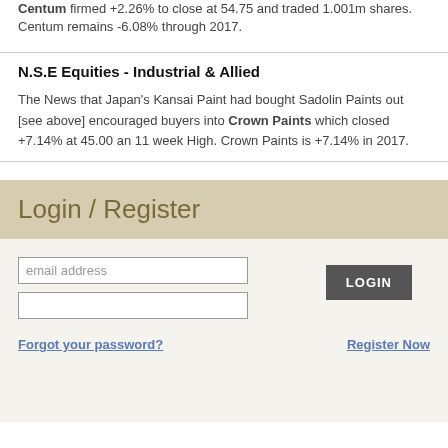Centum firmed +2.26% to close at 54.75 and traded 1.001m shares. Centum remains -6.08% through 2017.
N.S.E Equities - Industrial & Allied
The News that Japan's Kansai Paint had bought Sadolin Paints out [see above] encouraged buyers into Crown Paints which closed +7.14% at 45.00 an 11 week High. Crown Paints is +7.14% in 2017.
Login / Register
email address
LOGIN
Forgot your password?
Register Now